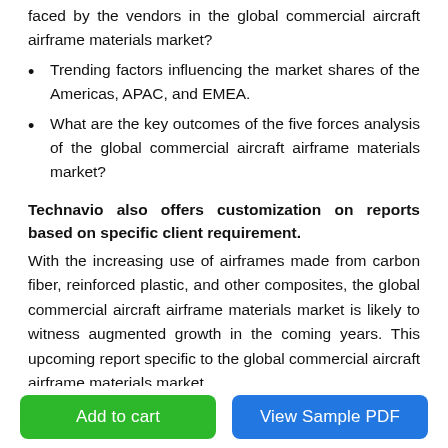faced by the vendors in the global commercial aircraft airframe materials market?
Trending factors influencing the market shares of the Americas, APAC, and EMEA.
What are the key outcomes of the five forces analysis of the global commercial aircraft airframe materials market?
Technavio also offers customization on reports based on specific client requirement.
With the increasing use of airframes made from carbon fiber, reinforced plastic, and other composites, the global commercial aircraft airframe materials market is likely to witness augmented growth in the coming years. This upcoming report specific to the global commercial aircraft airframe materials market
Add to cart
View Sample PDF